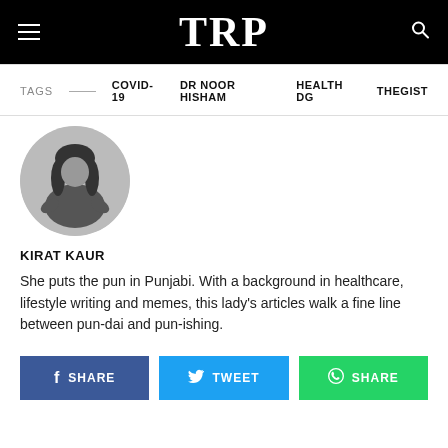TRP
TAGS — COVID-19 DR NOOR HISHAM HEALTH DG THEGIST
[Figure (photo): Black and white circular profile photo of author Kirat Kaur, a woman with long dark hair wearing a dark top, hands on hips.]
KIRAT KAUR
She puts the pun in Punjabi. With a background in healthcare, lifestyle writing and memes, this lady's articles walk a fine line between pun-dai and pun-ishing.